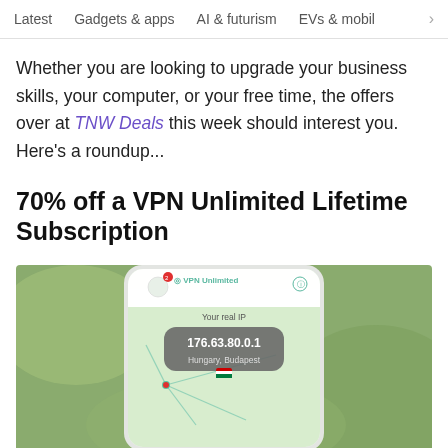Latest   Gadgets & apps   AI & futurism   EVs & mobil  >
Whether you are looking to upgrade your business skills, your computer, or your free time, the offers over at TNW Deals this week should interest you. Here's a roundup...
70% off a VPN Unlimited Lifetime Subscription
[Figure (photo): A hand holding a smartphone displaying the VPN Unlimited app interface showing 'Your real IP: 176.63.80.0.1, Hungary, Budapest' with a world map background]